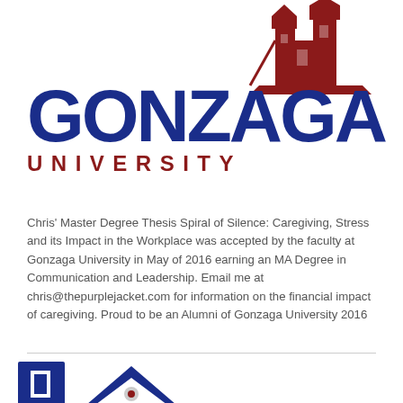[Figure (logo): Gonzaga University logo with dark red building/tower illustration and blue GONZAGA text with dark red UNIVERSITY text below]
Chris' Master Degree Thesis Spiral of Silence: Caregiving, Stress and its Impact in the Workplace was accepted by the faculty at Gonzaga University in May of 2016 earning an MA Degree in Communication and Leadership. Email me at chris@thepurplejacket.com for information on the financial impact of caregiving. Proud to be an Alumni of Gonzaga University 2016
[Figure (logo): Partial view of another logo at the bottom of the page — dark blue house/home shape with a smaller logo element]